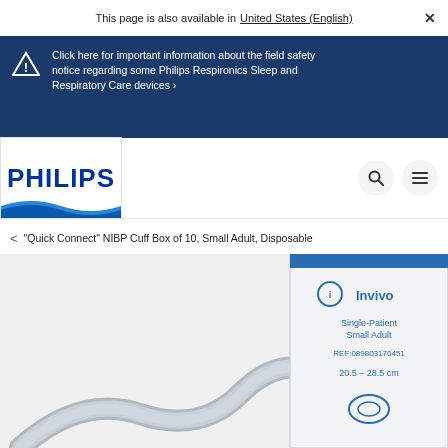This page is also available in United States (English)  ×
Click here for important information about the field safety notice regarding some Philips Respironics Sleep and Respiratory Care devices ›
[Figure (logo): Philips logo — bold blue PHILIPS text with a blue wave stripe at the bottom]
[Figure (other): Search icon button (magnifying glass) and hamburger menu icon on white circular backgrounds]
< "Quick Connect" NIBP Cuff Box of 10, Small Adult, Disposable
[Figure (photo): Invivo Single-Patient Small Adult NIBP cuff package (REF:089803170451, 20.5–28.5 cm) with a grey tube coiled, partially cropped at bottom-right of page]